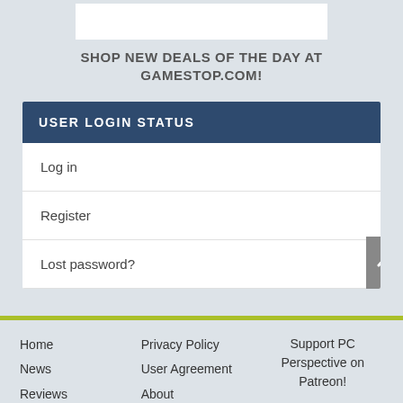[Figure (other): White banner/ad area at top]
SHOP NEW DEALS OF THE DAY AT GAMESTOP.COM!
USER LOGIN STATUS
Log in
Register
Lost password?
Home
News
Reviews
Privacy Policy
User Agreement
About
Support PC Perspective on Patreon!